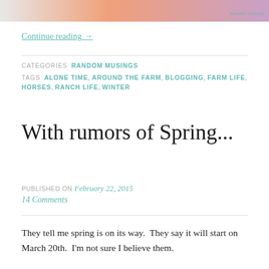[Figure (other): WordPress VIP advertisement banner at top of page]
REPORT THIS AD
Continue reading →
CATEGORIES  RANDOM MUSINGS
TAGS  ALONE TIME, AROUND THE FARM, BLOGGING, FARM LIFE, HORSES, RANCH LIFE, WINTER
With rumors of Spring...
PUBLISHED ON February 22, 2015
14 Comments
They tell me spring is on its way.  They say it will start on March 20th.  I'm not sure I believe them.